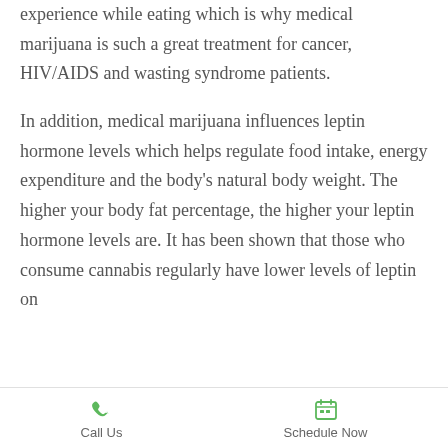experience while eating which is why medical marijuana is such a great treatment for cancer, HIV/AIDS and wasting syndrome patients.
In addition, medical marijuana influences leptin hormone levels which helps regulate food intake, energy expenditure and the body's natural body weight. The higher your body fat percentage, the higher your leptin hormone levels are. It has been shown that those who consume cannabis regularly have lower levels of leptin on
Call Us | Schedule Now